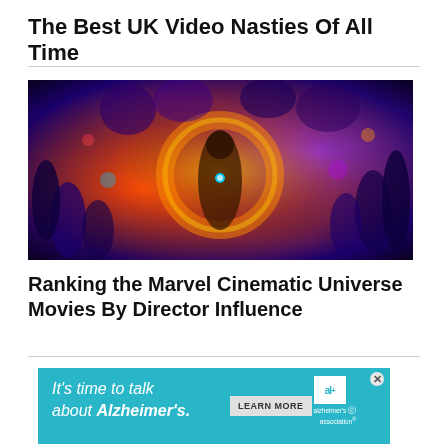The Best UK Video Nasties Of All Time
[Figure (photo): Collage promotional image featuring Marvel Cinematic Universe characters including heroes and villains with colorful dramatic lighting.]
Ranking the Marvel Cinematic Universe Movies By Director Influence
[Figure (infographic): Advertisement banner: It's time to talk about Alzheimer's. LEARN MORE. Alzheimer's association logo.]